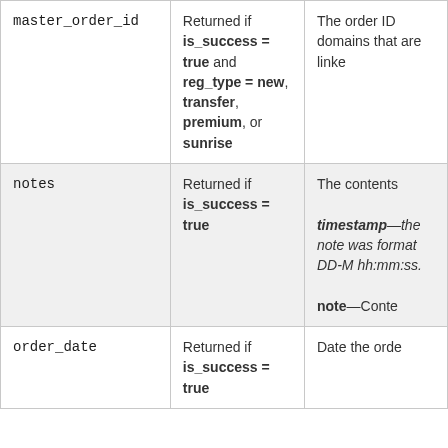| Field | Condition | Description |
| --- | --- | --- |
| master_order_id | Returned if is_success = true and reg_type = new, transfer, premium, or sunrise | The order ID domains that are linke |
| notes | Returned if is_success = true | The contents

timestamp—the note was format DD-M hh:mm:ss.

note—Conte |
| order_date | Returned if is_success = true | Date the orde |